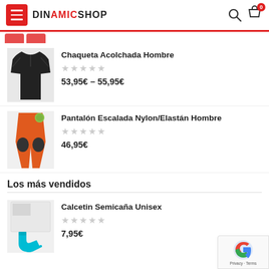DINAMIC SHOP
Chaqueta Acolchada Hombre
53,95€ – 55,95€
Pantalón Escalada Nylon/Elastán Hombre
46,95€
Los más vendidos
Calcetin Semicaña Unisex
7,95€